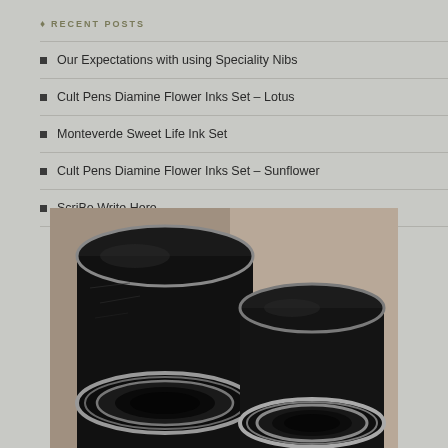♦ RECENT POSTS
Our Expectations with using Speciality Nibs
Cult Pens Diamine Flower Inks Set – Lotus
Monteverde Sweet Life Ink Set
Cult Pens Diamine Flower Inks Set – Sunflower
ScriBo Write Here
[Figure (photo): Close-up photo of two fountain pen nibs/sections from above, showing two dark (black/blue-black) cylindrical pen bodies with silver-rimmed openings, photographed at close range with shallow depth of field]